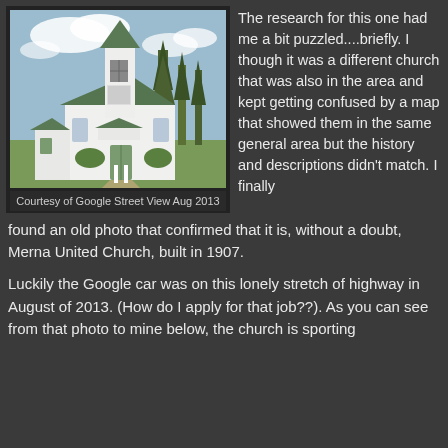[Figure (photo): Photograph of a small white wooden church with a tall square bell tower and green trim, surrounded by trees and green grass, taken from Google Street View in August 2013.]
Courtesy of Google Street View Aug 2013
The research for this one had me a bit puzzled....briefly. I though it was a different church that was also in the area and kept getting confused by a map that showed them in the same general area but the history and descriptions didn't match.  I finally found an old photo that confirmed that it is, without a doubt, Merna United Church, built in 1907.
Luckily the Google car was on this lonely stretch of highway in August of 2013. (How do I apply for that job??). As you can see from that photo to mine below, the church is sporting